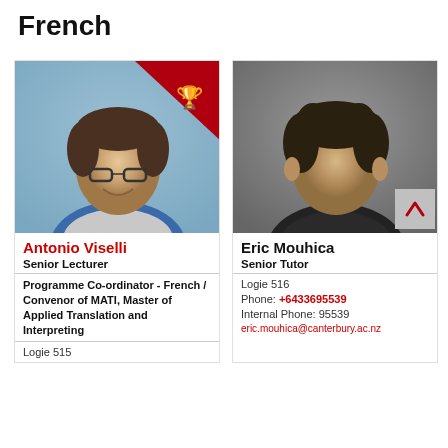French
[Figure (photo): Photo of Antonio Viselli with red trophy banner in top-right corner]
Antonio Viselli
Senior Lecturer
Programme Co-ordinator - French / Convenor of MATI, Master of Applied Translation and Interpreting
Logie 515
[Figure (photo): Photo of Eric Mouhica with grey scroll-up badge in bottom-right corner]
Eric Mouhica
Senior Tutor
Logie 516
Phone: +6433695539
Internal Phone: 95539
eric.mouhica@canterbury.ac.nz